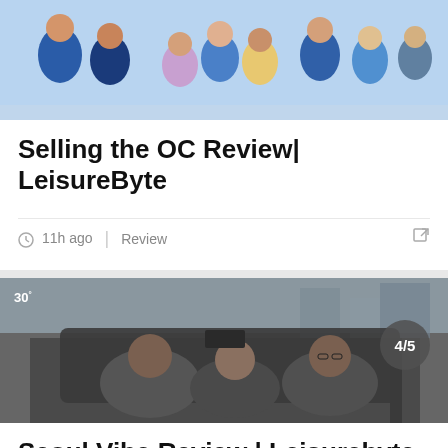[Figure (photo): Group photo of TV show cast members for Selling the OC, people in formal/colorful attire against a light background]
Selling the OC Review| LeisureByte
11h ago   Review
[Figure (photo): Scene from Seoul Vibe showing three people in a car, street scene in background, with badge showing 30° and rating 4/5]
Seoul Vibe Review | Leisurebyte